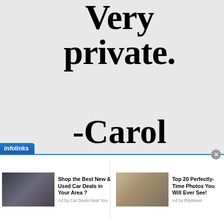Very private.
-Carol Vorderman
[Figure (infographic): Infolinks advertisement bar with two ad units: 'Shop the Best New & Used Car Deals in Your Area?' by Car Deals Near You, and 'Top 20 Perfectly-Time Photos You Will Ever See!' by RilyNews]